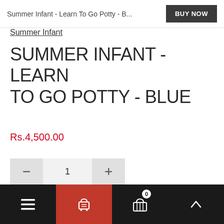Summer Infant - Learn To Go Potty - B...
BUY NOW
Summer Infant
SUMMER INFANT - LEARN TO GO POTTY - BLUE
Rs.4,500.00
Navigation bar with menu, cart (0), and up arrow